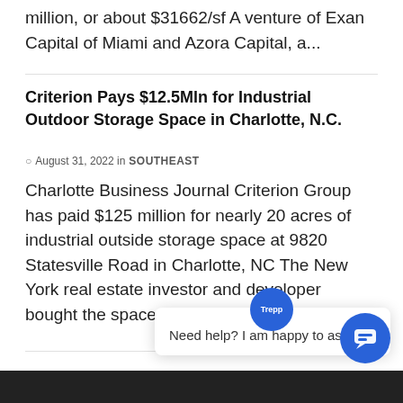million, or about $31662/sf A venture of Exan Capital of Miami and Azora Capital, a...
Criterion Pays $12.5Mln for Industrial Outdoor Storage Space in Charlotte, N.C.
August 31, 2022 in SOUTHEAST
Charlotte Business Journal Criterion Group has paid $125 million for nearly 20 acres of industrial outside storage space at 9820 Statesville Road in Charlotte, NC The New York real estate investor and developer bought the space from an unidentified...
[Figure (screenshot): Chat widget popup from Trepp with message 'Need help? I am happy to assist.' and a blue circular chat button at bottom right]